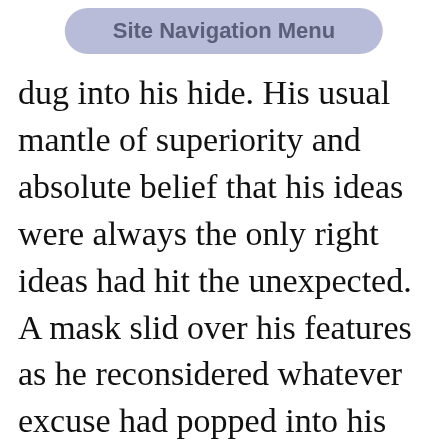Site Navigation Menu
dug into his hide. His usual mantle of superiority and absolute belief that his ideas were always the only right ideas had hit the unexpected. A mask slid over his features as he reconsidered whatever excuse had popped into his thoughts. Visibly he was cool as a cucumber, but his mouth was a